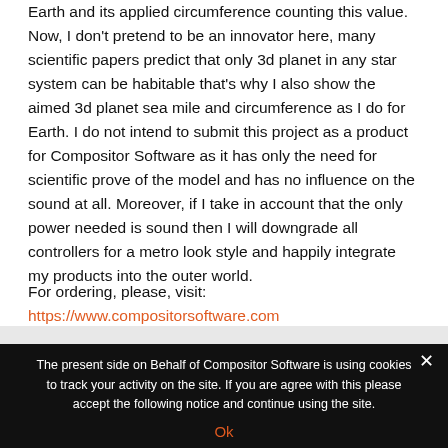Earth and its applied circumference counting this value. Now, I don't pretend to be an innovator here, many scientific papers predict that only 3d planet in any star system can be habitable that's why I also show the aimed 3d planet sea mile and circumference as I do for Earth. I do not intend to submit this project as a product for Compositor Software as it has only the need for scientific prove of the model and has no influence on the sound at all. Moreover, if I take in account that the only power needed is sound then I will downgrade all controllers for a metro look style and happily integrate my products into the outer world.
For ordering, please, visit: https://www.compositorsoftware.com
The present side on Behalf of Compositor Software is using cookies to track your activity on the site. If you are agree with this please accept the following notice and continue using the site.
Ok